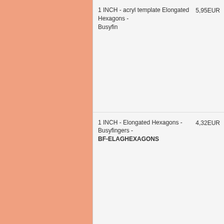[Figure (other): Salmon/peach colored rectangle filling the left portion of the page]
1 INCH - acryl template Elongated Hexagons - Busyfin
5,95EUR
1 INCH - Elongated Hexagons - Busyfingers - BF-ELAGHEXAGONS
4,32EUR